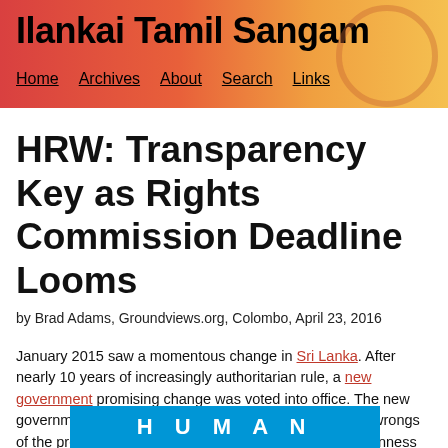Ilankai Tamil Sangam
Home   Archives   About   Search   Links
HRW: Transparency Key as Rights Commission Deadline Looms
by Brad Adams, Groundviews.org, Colombo, April 23, 2016
January 2015 saw a momentous change in Sri Lanka. After nearly 10 years of increasingly authoritarian rule, a new government promising change was voted into office. The new government immediately set about righting many of the wrongs of the previous Rajapaksa government, including an openness toward independent domestic organizations and the international community. As a clear marker of the sea change, the new
[Figure (logo): Human Rights Watch blue logo banner showing the word HUMAN in white bold letters on a blue background]